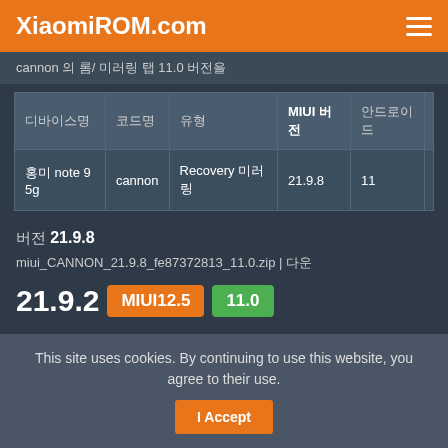XiaomiROM.com
cannon 의 롬/ 미러링 탭 11.0 버전을
| 디바이스명 | 코드명 | 유형 | MIUI 버전 | 안드로이드 |  |
| --- | --- | --- | --- | --- | --- |
| 홍미 note 9 5g | cannon | Recovery 미러링 | 21.9.8 | 11 |  |
버전 21.9.8
miui_CANNON_21.9.8_fe87372813_11.0.zip | 다운
21.9.2  MIUI12.5  11.0
This site uses cookies. By continuing to use this website, you agree to their use.